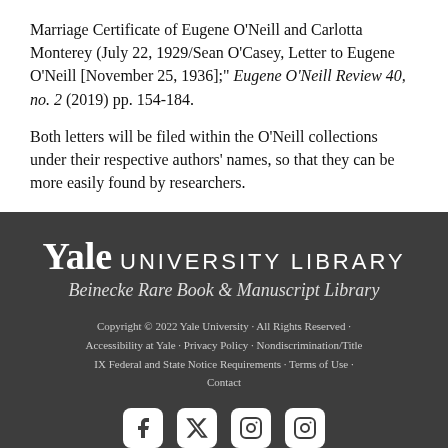Marriage Certificate of Eugene O'Neill and Carlotta Monterey (July 22, 1929/Sean O'Casey, Letter to Eugene O'Neill [November 25, 1936];" Eugene O'Neill Review 40, no. 2 (2019) pp. 154-184.
Both letters will be filed within the O'Neill collections under their respective authors' names, so that they can be more easily found by researchers.
[Figure (logo): Yale University Library - Beinecke Rare Book & Manuscript Library logo with text]
Copyright © 2022 Yale University · All Rights Reserved · Accessibility at Yale · Privacy Policy · Nondiscrimination/Title IX Federal and State Notice Requirements · Terms of Use · Contact
[Figure (other): Social media icons: Facebook, X (Twitter), and Instagram]